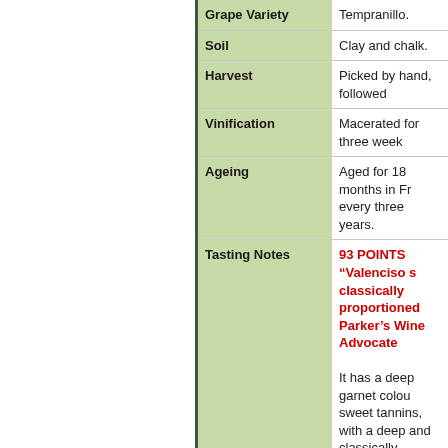| Property | Value |
| --- | --- |
| Grape Variety | Tempranillo. |
| Soil | Clay and chalk. |
| Harvest | Picked by hand, followed… |
| Vinification | Macerated for three week… |
| Ageing | Aged for 18 months in Fr… every three years. |
| Tasting Notes | 93 POINTS "Valenciso s… classically proportioned… Parker's Wine Advocate…

It has a deep garnet colou… sweet tannins, with a deep… and classically structured.

We also have Magnum (… per case. If you are inter… CONTACT US. |
| Alcohol | 14.5% vol. |
| Food | Roasts, casseroles and me… |
| Our Comments | Another great wine from Y… vintage! |